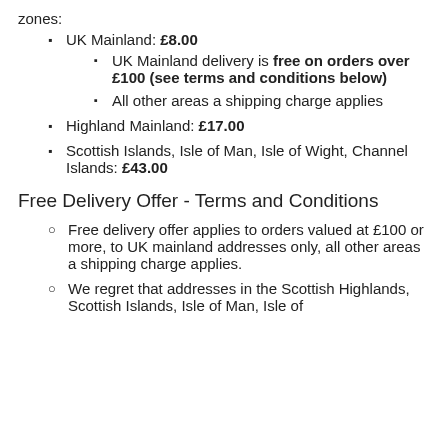zones:
UK Mainland: £8.00
UK Mainland delivery is free on orders over £100 (see terms and conditions below)
All other areas a shipping charge applies
Highland Mainland: £17.00
Scottish Islands, Isle of Man, Isle of Wight, Channel Islands: £43.00
Free Delivery Offer - Terms and Conditions
Free delivery offer applies to orders valued at £100 or more, to UK mainland addresses only, all other areas a shipping charge applies.
We regret that addresses in the Scottish Highlands, Scottish Islands, Isle of Man, Isle of